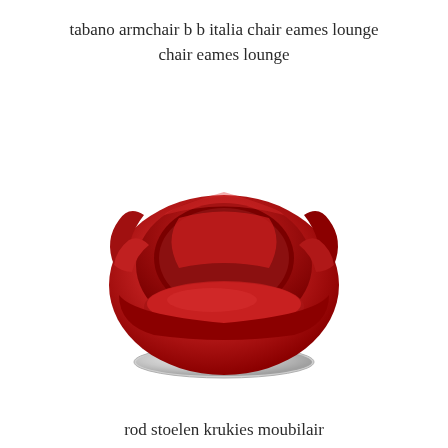tabano armchair b b italia chair eames lounge chair eames lounge
[Figure (photo): Red round barrel armchair with chrome pedestal base on white background]
rod stoelen krukies moubilair